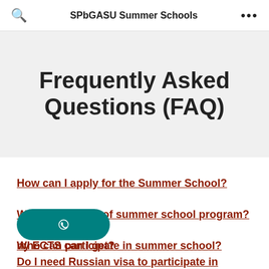SPbGASU Summer Schools
Frequently Asked Questions (FAQ)
How can I apply for the Summer School?
What is the cost of summer school program?
Who can participate in summer school?
ny ECTS can I get?
Do I need Russian visa to participate in